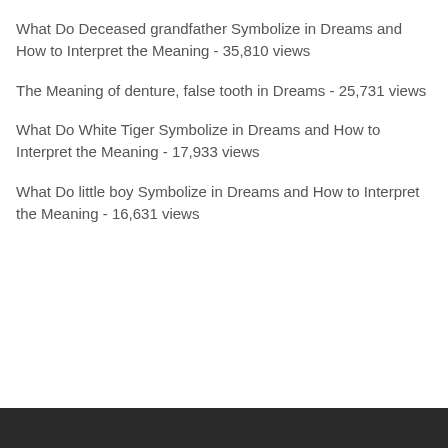What Do Deceased grandfather Symbolize in Dreams and How to Interpret the Meaning - 35,810 views
The Meaning of denture, false tooth in Dreams - 25,731 views
What Do White Tiger Symbolize in Dreams and How to Interpret the Meaning - 17,933 views
What Do little boy Symbolize in Dreams and How to Interpret the Meaning - 16,631 views